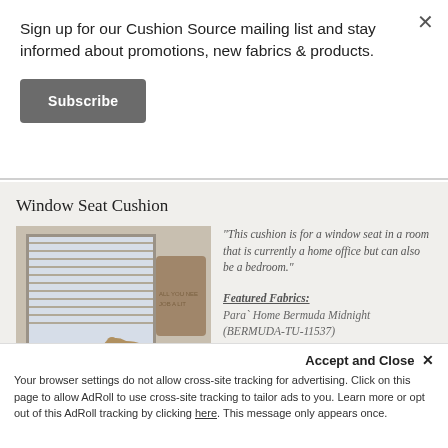Sign up for our Cushion Source mailing list and stay informed about promotions, new fabrics & products.
Subscribe
Window Seat Cushion
[Figure (photo): Photo of a window seat cushion with a cat sitting on it, near window blinds, in a home office/bedroom setting.]
"This cushion is for a window seat in a room that is currently a home office but can also be a bedroom." Featured Fabrics: Para` Home Bermuda Midnight (BERMUDA-TU-11537)
Norah P., a Mesa, CA
Accept and Close ×
Your browser settings do not allow cross-site tracking for advertising. Click on this page to allow AdRoll to use cross-site tracking to tailor ads to you. Learn more or opt out of this AdRoll tracking by clicking here. This message only appears once.